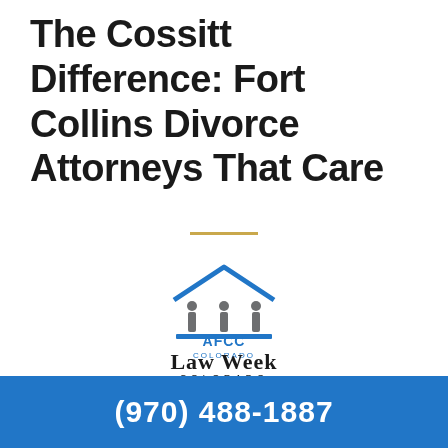The Cossitt Difference: Fort Collins Divorce Attorneys That Care
[Figure (logo): AFCC Colorado logo: blue house/building outline with three grey pillar figures beneath and 'AFCC COLORADO' text in blue]
[Figure (logo): Law Week Colorado logo in serif font]
(970) 488-1887